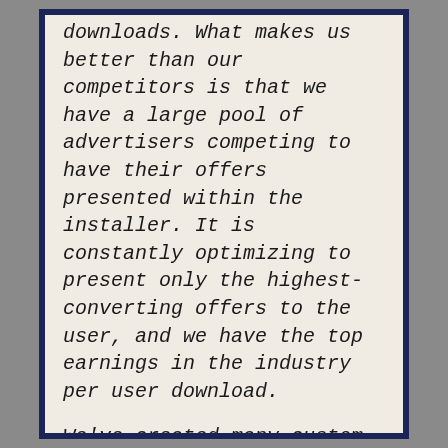downloads. What makes us better than our competitors is that we have a large pool of advertisers competing to have their offers presented within the installer. It is constantly optimizing to present only the highest-converting offers to the user, and we have the top earnings in the industry per user download.
We've created many custom installer solutions for download portals (like KnowledgeBase) that handle heavy download traffic and have unique requirements.